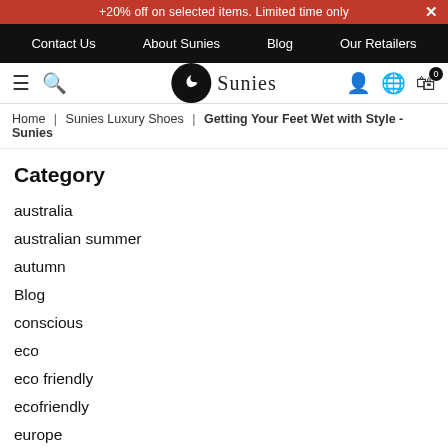+20% off on selected items. Limited time only
Contact Us   About Sunies   Blog   Our Retailers
[Figure (logo): Sunies logo with black circle icon and script text]
Home | Sunies Luxury Shoes | Getting Your Feet Wet with Style - Sunies
Category
australia
australian summer
autumn
Blog
conscious
eco
eco friendly
ecofriendly
europe
EUROTRIP
fashion
fashionista
holidays